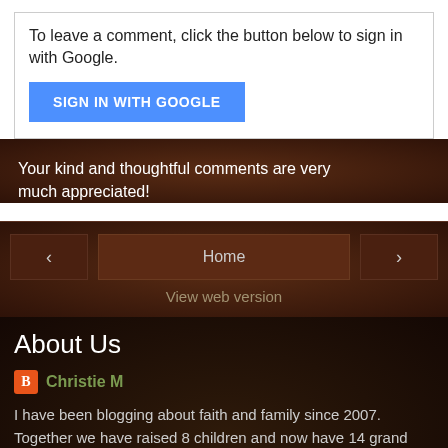To leave a comment, click the button below to sign in with Google.
[Figure (screenshot): Blue 'SIGN IN WITH GOOGLE' button]
Your kind and thoughtful comments are very much appreciated!
< Home >
View web version
About Us
Christie M
I have been blogging about faith and family since 2007. Together we have raised 8 children and now have 14 grand children. I hope my words and thoughts are a blessing to my readers. In all things, I pray that the Lord Jesus Christ is glorified.
View my complete profile